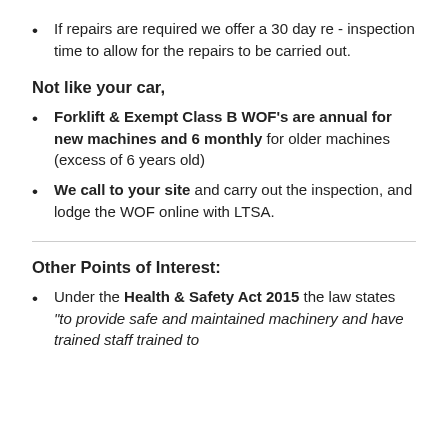If repairs are required we offer a 30 day re - inspection time to allow for the repairs to be carried out.
Not like your car,
Forklift & Exempt Class B WOF's are annual for new machines and 6 monthly for older machines (excess of 6 years old)
We call to your site and carry out the inspection, and lodge the WOF online with LTSA.
Other Points of Interest:
Under the Health & Safety Act 2015 the law states "to provide safe and maintained machinery and have trained staff trained to